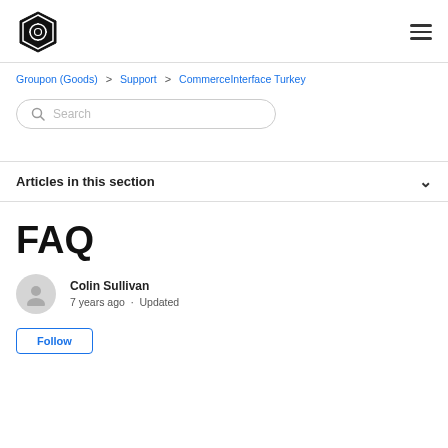Groupon logo and navigation
Groupon (Goods) > Support > CommerceInterface Turkey
Search
Articles in this section
FAQ
Colin Sullivan
7 years ago · Updated
Follow